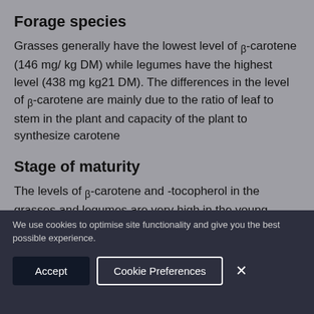Forage species
Grasses generally have the lowest level of β-carotene (146 mg/ kg DM) while legumes have the highest level (438 mg kg21 DM). The differences in the level of β-carotene are mainly due to the ratio of leaf to stem in the plant and capacity of the plant to synthesize carotene
Stage of maturity
The levels of β-carotene and -tocopherol in the grasses and legumes are very high in the young
We use cookies to optimise site functionality and give you the best possible experience.